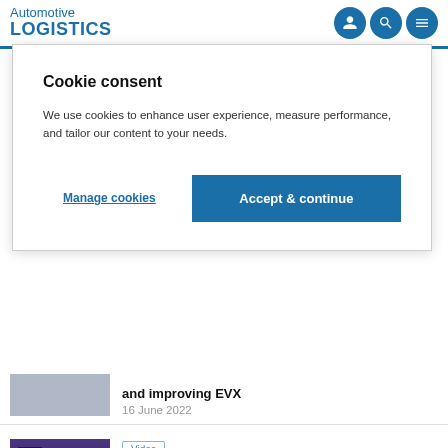Automotive LOGISTICS
Cookie consent
We use cookies to enhance user experience, measure performance, and tailor our content to your needs.
Manage cookies | Accept & continue
and improving EVX
16 June 2022
Video
Watch: Outbound in torrid times
16 June 2022